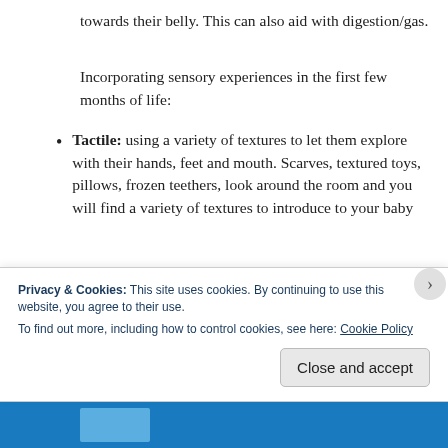towards their belly. This can also aid with digestion/gas.
Incorporating sensory experiences in the first few months of life:
Tactile: using a variety of textures to let them explore with their hands, feet and mouth. Scarves, textured toys, pillows, frozen teethers, look around the room and you will find a variety of textures to introduce to your baby
Privacy & Cookies: This site uses cookies. By continuing to use this website, you agree to their use.
To find out more, including how to control cookies, see here: Cookie Policy
Close and accept